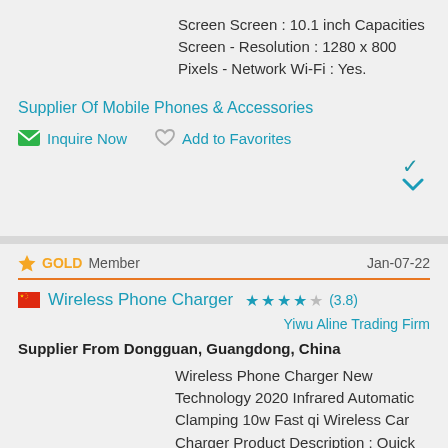Screen Screen : 10.1 inch Capacities Screen - Resolution : 1280 x 800 Pixels - Network Wi-Fi : Yes.
Supplier Of Mobile Phones & Accessories
Inquire Now   Add to Favorites
GOLD Member   Jan-07-22
Wireless Phone Charger ★★★★☆ (3.8)
Yiwu Aline Trading Firm
Supplier From Dongguan, Guangdong, China
Wireless Phone Charger New Technology 2020 Infrared Automatic Clamping 10w Fast qi Wireless Car Charger Product Description : Quick Details Type : Electric, Wireless Charger Usage : Mobile Phone